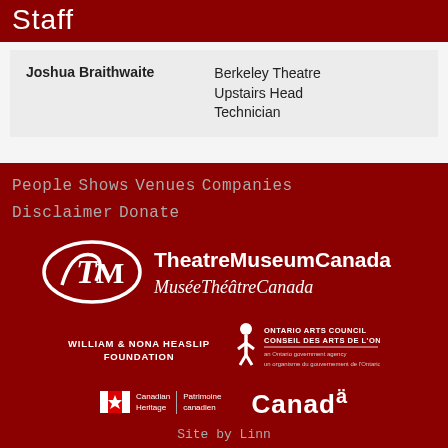Staff
|  |  |
| --- | --- |
| Joshua Braithwaite | Berkeley Theatre Upstairs Head Technician |
People Shows Venues Companies Disclaimer Donate
[Figure (logo): Theatre Museum Canada / Musée Théâtre Canada logo with stylized TM emblem]
[Figure (logo): William & Nona Heaslip Foundation logo text]
[Figure (logo): Ontario Arts Council / Conseil des arts de l'Ontario logo]
[Figure (logo): Canadian Heritage / Patrimoine canadien logo with maple leaf flag icon and Canada wordmark]
Site by Linn
« back to top